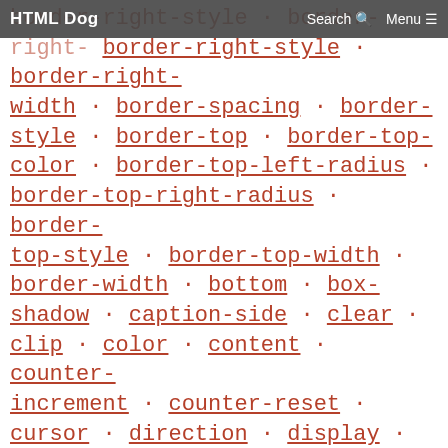HTML Dog | Search | Menu
border-right-style · border-right-width · border-spacing · border-style · border-top · border-top-color · border-top-left-radius · border-top-right-radius · border-top-style · border-top-width · border-width · bottom · box-shadow · caption-side · clear · clip · color · content · counter-increment · counter-reset · cursor · direction · display · empty-cells · float · font · font-family · font-size · font-size-adjust · font-stretch · font-style · font-synthesis · font-